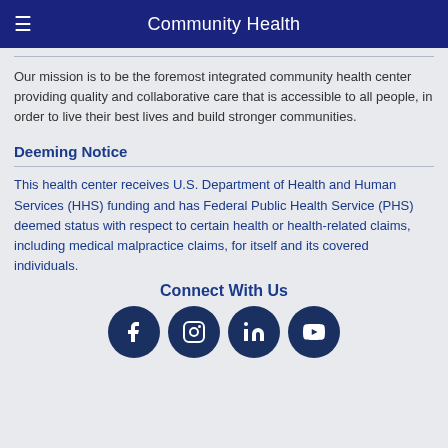Community Health
Our mission is to be the foremost integrated community health center providing quality and collaborative care that is accessible to all people, in order to live their best lives and build stronger communities.
Deeming Notice
This health center receives U.S. Department of Health and Human Services (HHS) funding and has Federal Public Health Service (PHS) deemed status with respect to certain health or health-related claims, including medical malpractice claims, for itself and its covered individuals.
Connect With Us
[Figure (infographic): Four social media icon circles: Facebook, Instagram, LinkedIn, YouTube]